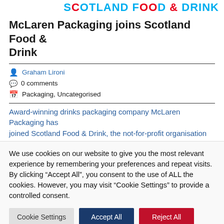SCOTLAND FOOD & DRINK
McLaren Packaging joins Scotland Food & Drink
Graham Lironi
0 comments
Packaging, Uncategorised
Award-winning drinks packaging company McLaren Packaging has joined Scotland Food & Drink, the not-for-profit organisation
We use cookies on our website to give you the most relevant experience by remembering your preferences and repeat visits. By clicking “Accept All”, you consent to the use of ALL the cookies. However, you may visit "Cookie Settings" to provide a controlled consent.